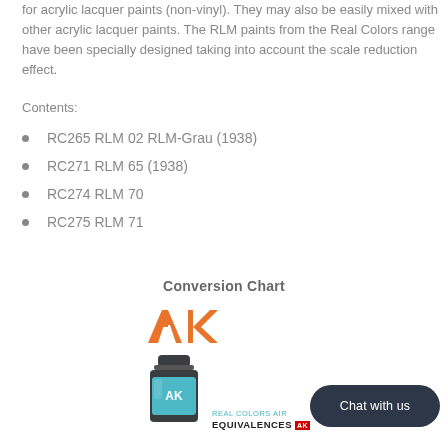for acrylic lacquer paints (non-vinyl). They may also be easily mixed with other acrylic lacquer paints. The RLM paints from the Real Colors range have been specially designed taking into account the scale reduction effect.
Contents:
RC265 RLM 02 RLM-Grau (1938)
RC271 RLM 65 (1938)
RC274 RLM 70
RC275 RLM 71
Conversion Chart
[Figure (logo): AK Interactive logo in orange]
[Figure (photo): AK Real Colors Air paint jar with teal/blue color label, alongside Real Colors Air Equivalences branding text with red stamp]
Chat with us